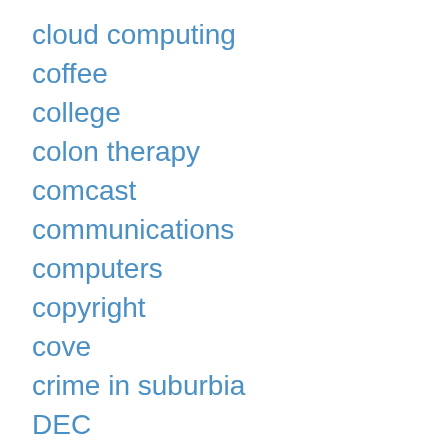cloud computing
coffee
college
colon therapy
comcast
communications
computers
copyright
cove
crime in suburbia
DEC
digital
digital nomads